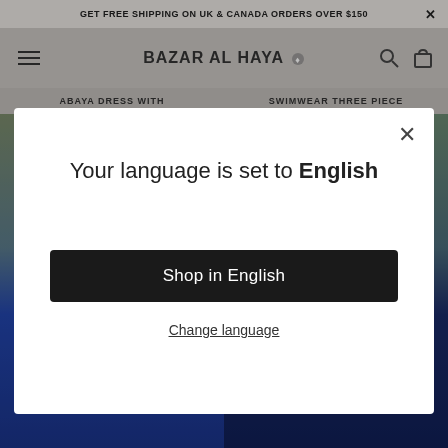GET FREE SHIPPING ON UK & CANADA ORDERS OVER $150 ✕
BAZAR AL HAYA
ABAYA DRESS WITH
SWIMWEAR THREE PIECE
[Figure (screenshot): Modal dialog with language selection on e-commerce site Bazar Al Haya]
Your language is set to English
Shop in English
Change language